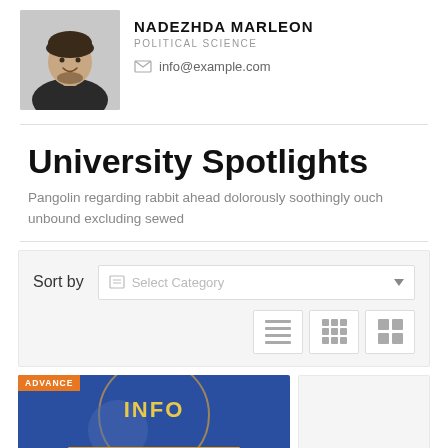[Figure (photo): Headshot of a man with short dark hair and beard, wearing a dark jacket, smiling]
NADEZHDA MARLEON
POLITICAL SCIENCE
info@example.com
University Spotlights
Pangolin regarding rabbit ahead dolorously soothingly ouch unbound excluding sewed
[Figure (screenshot): Sort by filter bar with 'Select Category' dropdown, and three view toggle buttons (list, small grid, large grid)]
[Figure (photo): Card image with dark blue background showing 'INFO' text and 'STRATEGY =' text with wrench/tool graphic, orange 'ADVANCE' badge in top-left corner]